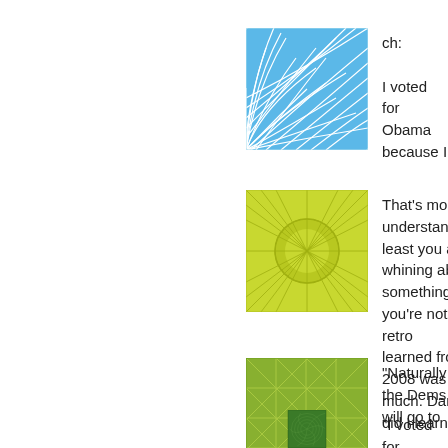[Figure (illustration): Blue swirling fan/wave pattern avatar icon]
ch:

I voted for Obama because I
[Figure (illustration): Yellow-green geometric circle pattern avatar icon]
That's more understandable, at least you aren't whining about something you're not. In retro... learned from 2008 was why d... much. Damn did I learn that.
[Figure (illustration): Green grid/lattice pattern avatar icon]
"Naturally the Dems will go to...

May not have to after re-call...
[Figure (illustration): Dark green swirling spiral pattern avatar icon]
"I voted for Obama because I...

Oh, I voted for McCain, but o